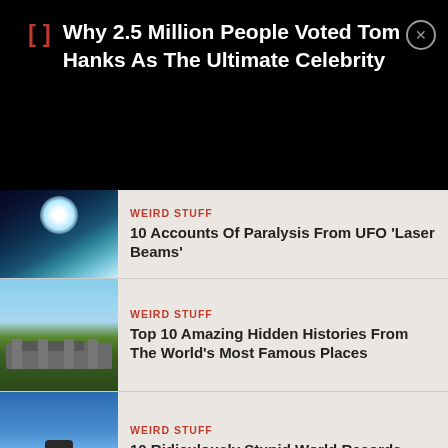Why 2.5 Million People Voted Tom Hanks As The Ultimate Celebrity
WEIRD STUFF
10 Accounts Of Paralysis From UFO 'Laser Beams'
WEIRD STUFF
Top 10 Amazing Hidden Histories From The World's Most Famous Places
WEIRD STUFF
10 Ridiculously Stupid World Records